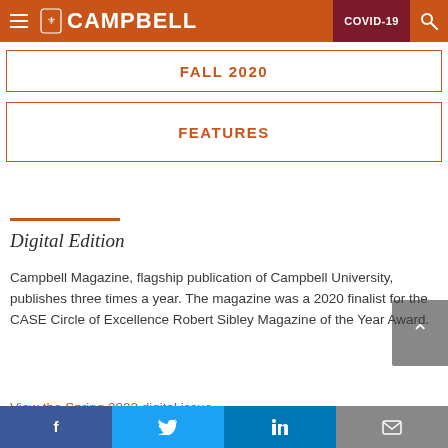CAMPBELL  COVID-19
FALL 2020
FEATURES
Digital Edition
Campbell Magazine, flagship publication of Campbell University, publishes three times a year. The magazine was a 2020 finalist for the CASE Circle of Excellence Robert Sibley Magazine of the Year Award.
View the Spring 2022 digital issue
Facebook Twitter LinkedIn Email